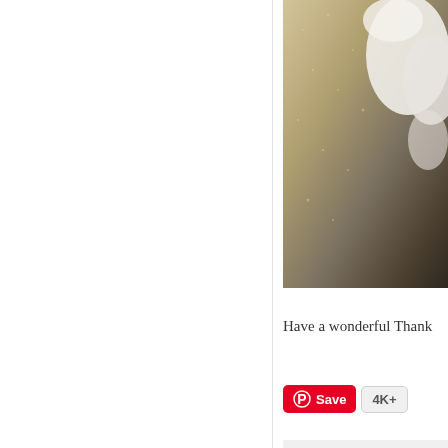[Figure (photo): Close-up photo of a textured golden/beige surface with a white object (possibly a cloth or ceramic) visible in the upper right corner]
Have a wonderful Thank
[Figure (other): Pinterest Save button with red background and white P icon, followed by a count badge showing 4K+]
Posted by Lindsay @ Deligh
Labels: diy projects
The Merino Baby biggest Mom fears
TUESDAY, NOVEM